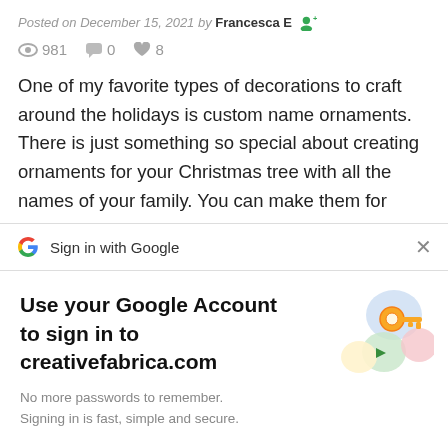Posted on December 15, 2021 by Francesca E
981  0  8
One of my favorite types of decorations to craft around the holidays is custom name ornaments. There is just something so special about creating ornaments for your Christmas tree with all the names of your family. You can make them for
Sign in with Google
Use your Google Account to sign in to creativefabrica.com
No more passwords to remember. Signing in is fast, simple and secure.
[Figure (illustration): Google key illustration with colorful circles and a golden key]
Continue